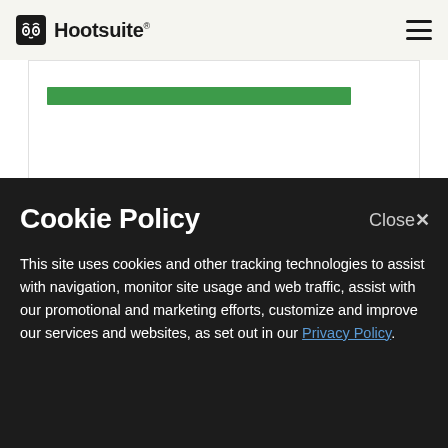Hootsuite
[Figure (screenshot): Hootsuite website header with logo and hamburger menu, with a white card containing a green progress bar and a blue banner below]
Cookie Policy
This site uses cookies and other tracking technologies to assist with navigation, monitor site usage and web traffic, assist with our promotional and marketing efforts, customize and improve our services and websites, as set out in our Privacy Policy.